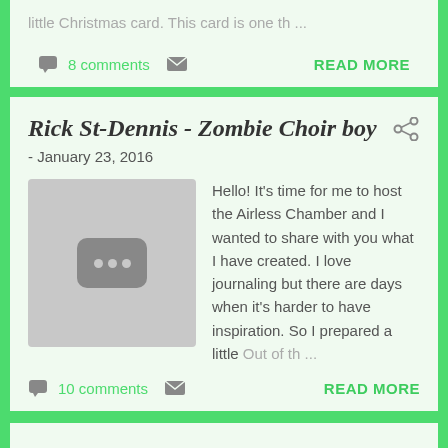little Christmas card. This card is one th...
8 comments  READ MORE
Rick St-Dennis - Zombie Choir boy
- January 23, 2016
[Figure (photo): Thumbnail placeholder image with three dots icon]
Hello! It's time for me to host the Airless Chamber and I wanted to share with you what I have created. I love journaling but there are days when it's harder to have inspiration. So I prepared a little Out of th...
10 comments  READ MORE